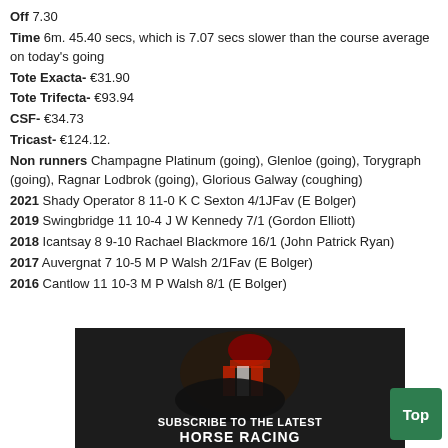Off 7.30
Time 6m. 45.40 secs, which is 7.07 secs slower than the course average on today's going
Tote Exacta- €31.90
Tote Trifecta- €93.94
CSF- €34.73
Tricast- €124.12.
Non runners Champagne Platinum (going), Glenloe (going), Torygraph (going), Ragnar Lodbrok (going), Glorious Galway (coughing)
2021 Shady Operator 8 11-0 K C Sexton 4/1JFav (E Bolger)
2019 Swingbridge 11 10-4 J W Kennedy 7/1 (Gordon Elliott)
2018 Icantsay 8 9-10 Rachael Blackmore 16/1 (John Patrick Ryan)
2017 Auvergnat 7 10-5 M P Walsh 2/1Fav (E Bolger)
2016 Cantlow 11 10-3 M P Walsh 8/1 (E Bolger)
[Figure (photo): Banner with jockey on horse: Subscribe to the latest horse racing]